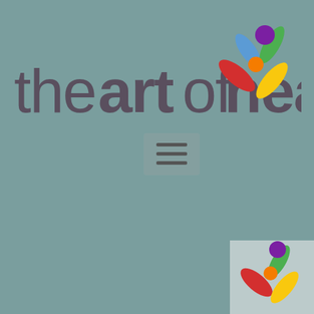[Figure (logo): The Art of Healing logo: stylized text 'theartofhealing' in dark grey/purple with a colorful flower icon (petals in blue, green, red, yellow, purple circle center, orange circle) in the upper right area]
[Figure (screenshot): A hamburger menu icon (three horizontal lines) inside a slightly lighter square/rectangle area, centered around x=250, y=220]
[Figure (logo): Partial The Art of Healing logo visible in bottom right corner, partially cut off]